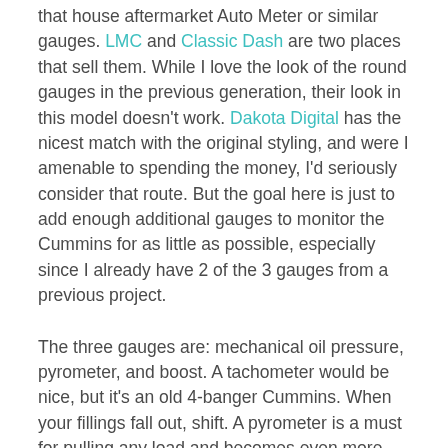that house aftermarket Auto Meter or similar gauges. LMC and Classic Dash are two places that sell them. While I love the look of the round gauges in the previous generation, their look in this model doesn't work. Dakota Digital has the nicest match with the original styling, and were I amenable to spending the money, I'd seriously consider that route. But the goal here is just to add enough additional gauges to monitor the Cummins for as little as possible, especially since I already have 2 of the 3 gauges from a previous project.
The three gauges are: mechanical oil pressure, pyrometer, and boost. A tachometer would be nice, but it's an old 4-banger Cummins. When your fillings fall out, shift. A pyrometer is a must for pulling any load and becomes even more important with performance upgrades. Check both boxes here. We're turning the fuel